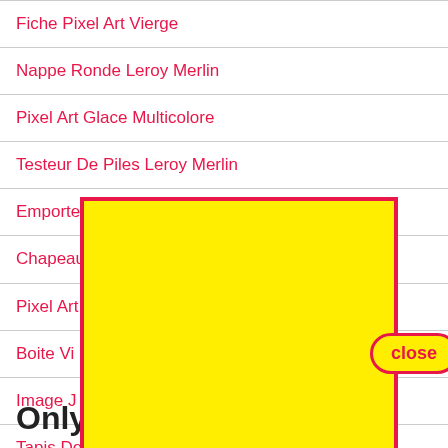Fiche Pixel Art Vierge
Nappe Ronde Leroy Merlin
Pixel Art Glace Multicolore
Testeur De Piles Leroy Merlin
Emporte Piece Noel Patis…
Chapeau…
Pixel Art…
Boite Vi…
Image J…
Tapis De…
Only F
[Figure (other): Yellow rectangle overlay with red border and a close button (red outlined pill button with yellow background labeled 'close')]